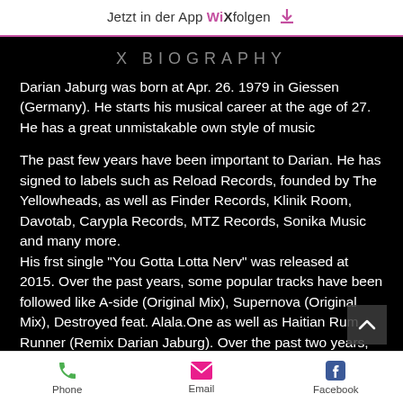Jetzt in der App WiXfolgen ⬇
X BIOGRAPHY
Darian Jaburg was born at Apr. 26. 1979 in Giessen (Germany). He starts his musical career at the age of 27. He has a great unmistakable own style of music
The past few years have been important to Darian. He has signed to labels such as Reload Records, founded by The Yellowheads, as well as Finder Records, Klinik Room, Davotab, Carypla Records, MTZ Records, Sonika Music and many more.
His frst single "You Gotta Lotta Nerv" was released at 2015. Over the past years, some popular tracks have been followed like A-side (Original Mix), Supernova (Original Mix), Destroyed feat. Alala.One as well as Haitian Rum Runner (Remix Darian Jaburg). Over the past two years, Darian has consistently reached Top 100 rankings in the Beatport charts. His
Phone   Email   Facebook